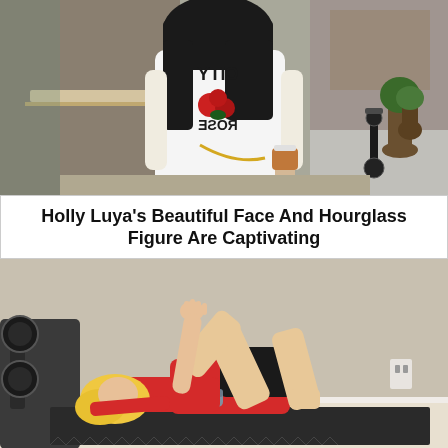[Figure (photo): Woman from behind wearing a white long-sleeve shirt with reversed text 'CITY' and 'ROSE' and a rose graphic, holding a coffee cup, standing on a city sidewalk. A scooter and potted plants are visible in the background.]
Holly Luya's Beautiful Face And Hourglass Figure Are Captivating
[Figure (photo): Blonde woman performing a glute bridge exercise on a black foam mat in a gym/home setting, wearing a red tank top and black shorts with gray sneakers. Her right arm is raised straight up.]